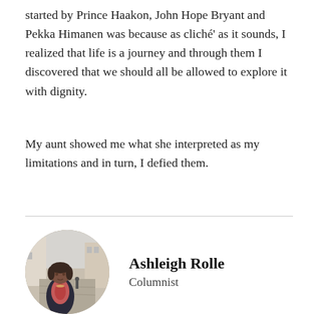started by Prince Haakon, John Hope Bryant and Pekka Himanen was because as cliché' as it sounds, I realized that life is a journey and through them I discovered that we should all be allowed to explore it with dignity.
My aunt showed me what she interpreted as my limitations and in turn, I defied them.
[Figure (photo): Circular portrait photo of Ashleigh Rolle, a woman standing on a European cobblestone street with buildings in the background, wearing a patterned top and dark cardigan.]
Ashleigh Rolle
Columnist